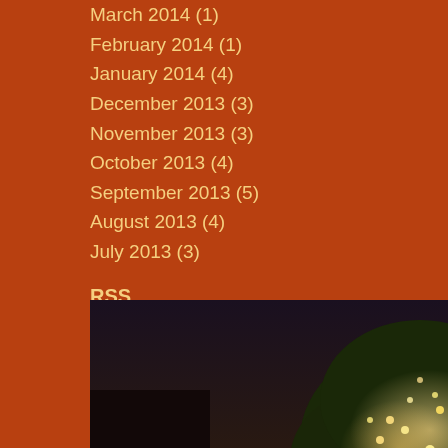March 2014 (1)
February 2014 (1)
January 2014 (4)
December 2013 (3)
November 2013 (3)
October 2013 (4)
September 2013 (5)
August 2013 (4)
July 2013 (3)
RSS
Subscribe
[Figure (photo): Night-time photo of a tree decorated with string lights in front of a building with dark sky background]